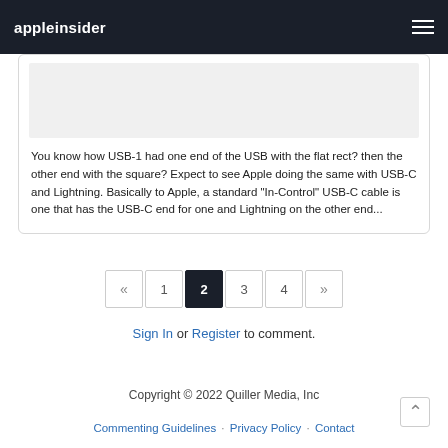appleinsider
[Figure (screenshot): Partial comment card with a gray image placeholder area at top]
You know how USB-1 had one end of the USB with the flat rect? then the other end with the square? Expect to see Apple doing the same with USB-C and Lightning. Basically to Apple, a standard "In-Control" USB-C cable is one that has the USB-C end for one and Lightning on the other end...
« 1 2 3 4 »
Sign In or Register to comment.
Copyright © 2022 Quiller Media, Inc
Commenting Guidelines · Privacy Policy · Contact